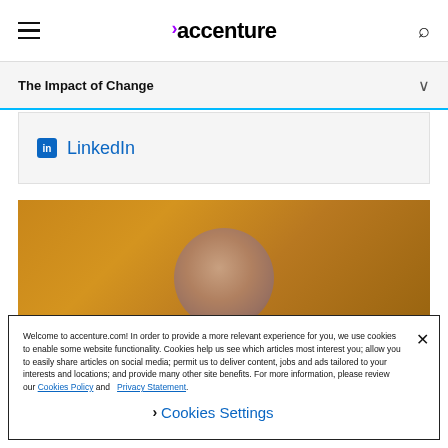accenture
The Impact of Change
LinkedIn
[Figure (photo): Close-up photo of a bald person's head from above, with a warm golden-brown blurred background]
Welcome to accenture.com! In order to provide a more relevant experience for you, we use cookies to enable some website functionality. Cookies help us see which articles most interest you; allow you to easily share articles on social media; permit us to deliver content, jobs and ads tailored to your interests and locations; and provide many other site benefits. For more information, please review our Cookies Policy and Privacy Statement.
Cookies Settings